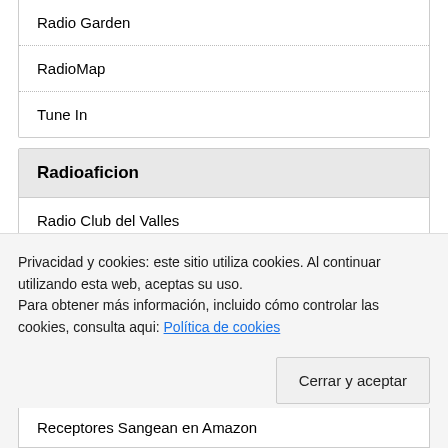Radio Garden
RadioMap
Tune In
Radioaficion
Radio Club del Valles
Social Ham
Receptores
Privacidad y cookies: este sitio utiliza cookies. Al continuar utilizando esta web, aceptas su uso.
Para obtener más información, incluido cómo controlar las cookies, consulta aqui: Política de cookies
Cerrar y aceptar
Receptores Sangean en Amazon